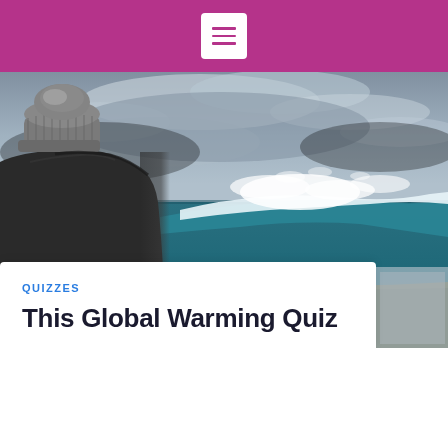[Figure (photo): Person wearing a gray knit winter hat and dark jacket, seen from behind, looking out at rough ocean waves crashing against a rocky shore under a dramatic cloudy sky.]
QUIZZES
This Global Warming Quiz